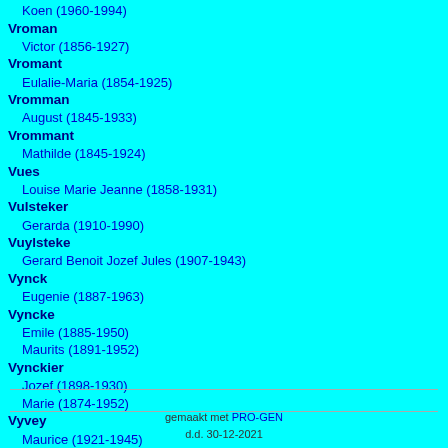Koen (1960-1994)
Vroman
  Victor (1856-1927)
Vromant
  Eulalie-Maria (1854-1925)
Vromman
  August (1845-1933)
Vrommant
  Mathilde (1845-1924)
Vues
  Louise Marie Jeanne (1858-1931)
Vulsteker
  Gerarda (1910-1990)
Vuylsteke
  Gerard Benoit Jozef Jules (1907-1943)
Vynck
  Eugenie (1887-1963)
Vyncke
  Emile (1885-1950)
  Maurits (1891-1952)
Vynckier
  Jozef (1898-1930)
  Marie (1874-1952)
Vyvey
  Maurice (1921-1945)
gemaakt met PRO-GEN
d.d. 30-12-2021